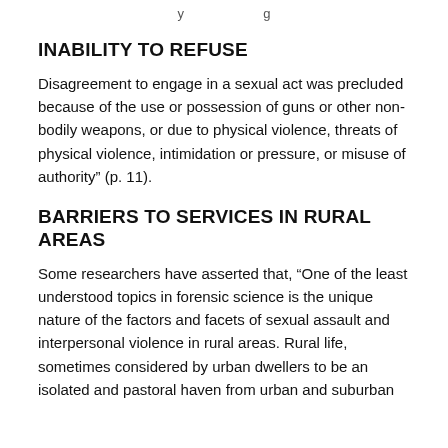y g
INABILITY TO REFUSE
Disagreement to engage in a sexual act was precluded because of the use or possession of guns or other non-bodily weapons, or due to physical violence, threats of physical violence, intimidation or pressure, or misuse of authority” (p. 11).
BARRIERS TO SERVICES IN RURAL AREAS
Some researchers have asserted that, “One of the least understood topics in forensic science is the unique nature of the factors and facets of sexual assault and interpersonal violence in rural areas. Rural life, sometimes considered by urban dwellers to be an isolated and pastoral haven from urban and suburban